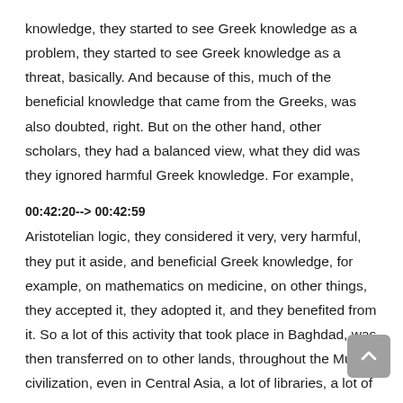knowledge, they started to see Greek knowledge as a problem, they started to see Greek knowledge as a threat, basically. And because of this, much of the beneficial knowledge that came from the Greeks, was also doubted, right. But on the other hand, other scholars, they had a balanced view, what they did was they ignored harmful Greek knowledge. For example,
00:42:20--> 00:42:59
Aristotelian logic, they considered it very, very harmful, they put it aside, and beneficial Greek knowledge, for example, on mathematics on medicine, on other things, they accepted it, they adopted it, and they benefited from it. So a lot of this activity that took place in Baghdad, was then transferred on to other lands, throughout the Muslim civilization, even in Central Asia, a lot of libraries, a lot of